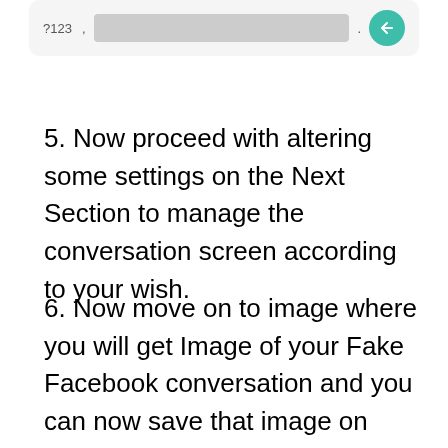[Figure (screenshot): Screenshot of a mobile keyboard bottom bar showing '?123', a comma, a text input field (blurred/grey), a period, and a teal/green circular send button with a left-pointing arrow icon.]
5. Now proceed with altering some settings on the Next Section to manage the conversation screen according to your wish.
6. Now move on to image where you will get Image of your Fake Facebook conversation and you can now save that image on your device.